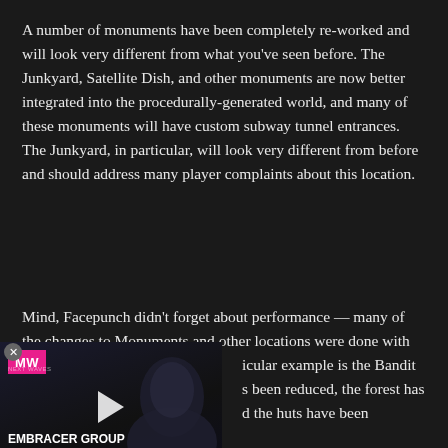A number of monuments have been completely re-worked and will look very different from what you've seen before. The Junkyard, Satellite Dish, and other monuments are now better integrated into the procedurally-generated world, and many of these monuments will have custom subway tunnel entrances. The Junkyard, in particular, will look very different from before and should address many player complaints about this location.
Mind, Facepunch didn't forget about performance — many of the changes to Monuments and other locations were done with performance in mind. A particular example is the Bandit Camp, where the draw distance has been reduced, the forest has been thinned out significantly, and the huts have been completely re-done. Altogether these changes should give gamers much better performance than before.
[Figure (screenshot): Video ad overlay showing MW (Multiwire/NextWaves) logo on pink background, dark face silhouette, play button, and text 'EMBRACER GROUP BUY LOTR RIGHTS']